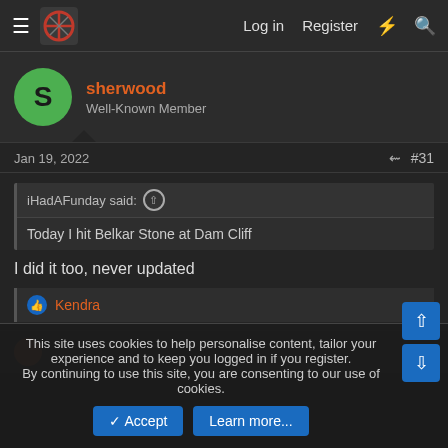Log in  Register
sherwood
Well-Known Member
Jan 19, 2022  #31
iHadAFunday said: ↑
Today I hit Belkar Stone at Dam Cliff
I did it too, never updated
👍 Kendra
This site uses cookies to help personalise content, tailor your experience and to keep you logged in if you register.
By continuing to use this site, you are consenting to our use of cookies.